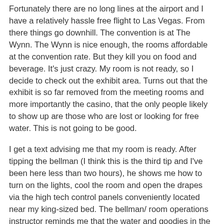Fortunately there are no long lines at the airport and I have a relatively hassle free flight to Las Vegas. From there things go downhill. The convention is at The Wynn. The Wynn is nice enough, the rooms affordable at the convention rate. But they kill you on food and beverage. It's just crazy. My room is not ready, so I decide to check out the exhibit area. Turns out that the exhibit is so far removed from the meeting rooms and more importantly the casino, that the only people likely to show up are those who are lost or looking for free water. This is not going to be good.
I get a text advising me that my room is ready. After tipping the bellman (I think this is the third tip and I've been here less than two hours), he shows me how to turn on the lights, cool the room and open the drapes via the high tech control panels conveniently located near my king-sized bed. The bellman/ room operations instructor reminds me that the water and goodies in the mini-bar/pantry are charged automatically if I pick them up for more than 60 seconds. Seriously?
I then decide to lay down for a quick nap and the doorbell